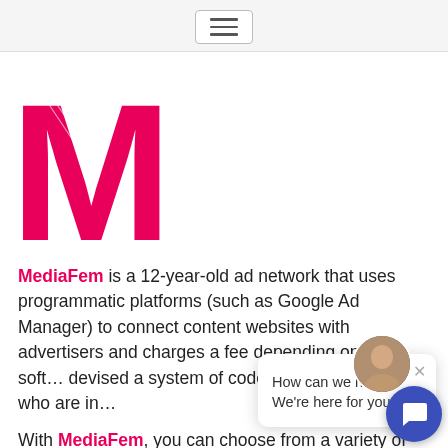[Figure (logo): MediaFem logo — large hot-pink letter M in bold sans-serif font]
MediaFem is a 12-year-old ad network that uses programmatic platforms (such as Google Ad Manager) to connect content websites with advertisers and charges a fee depending on the soft... devised a system of code... seen by people who are in...
With MediaFem, you can choose from a variety of positioning options, all of which may be customized to match the design and look of your website. All video, display, mobile, and native formats, as well as a variety of header bidding choices for real-time bidding, are supported.
[Figure (screenshot): Chat popup overlay with avatar photo and message 'How can we help? We're here for you!' with X close button, and a blue circular chat button in the bottom-right corner]